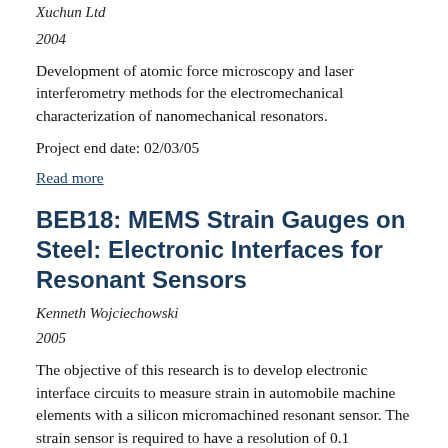Xuchun Ltd
2004
Development of atomic force microscopy and laser interferometry methods for the electromechanical characterization of nanomechanical resonators.
Project end date: 02/03/05
Read more
BEB18: MEMS Strain Gauges on Steel: Electronic Interfaces for Resonant Sensors
Kenneth Wojciechowski
2005
The objective of this research is to develop electronic interface circuits to measure strain in automobile machine elements with a silicon micromachined resonant sensor. The strain sensor is required to have a resolution of 0.1